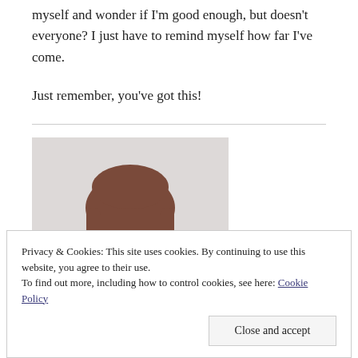myself and wonder if I'm good enough, but doesn't everyone? I just have to remind myself how far I've come.
Just remember, you've got this!
[Figure (photo): Portrait photo of a person with auburn/brown hair against a light background, showing the top of the head and partial face.]
Privacy & Cookies: This site uses cookies. By continuing to use this website, you agree to their use.
To find out more, including how to control cookies, see here: Cookie Policy
Close and accept